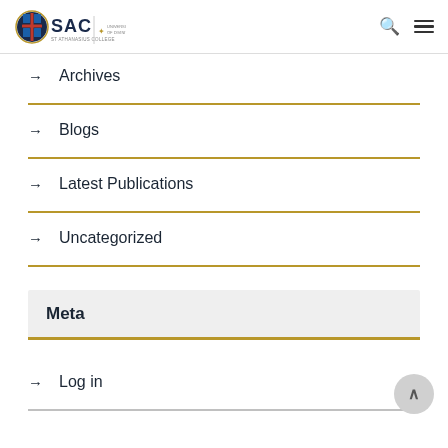SAC St Athanasios College / University of Divinity — navigation header
→ Archives
→ Blogs
→ Latest Publications
→ Uncategorized
Meta
→ Log in